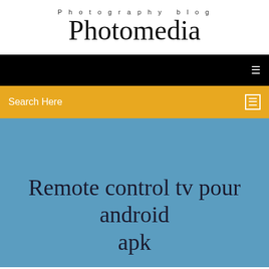Photography blog
Photomedia
[Figure (screenshot): Black navigation bar with white menu icon on the right]
Search Here
Remote control tv pour android apk